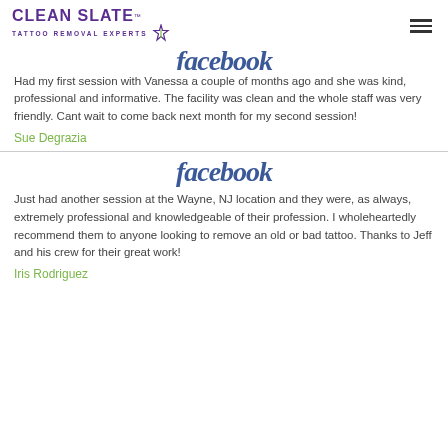Clean Slate Tattoo Removal Experts
[Figure (logo): Facebook logo (partially clipped at top) - first review section]
Had my first session with Vanessa a couple of months ago and she was kind, professional and informative. The facility was clean and the whole staff was very friendly. Cant wait to come back next month for my second session!
Sue Degrazia
[Figure (logo): Facebook logo - second review section]
Just had another session at the Wayne, NJ location and they were, as always, extremely professional and knowledgeable of their profession. I wholeheartedly recommend them to anyone looking to remove an old or bad tattoo. Thanks to Jeff and his crew for their great work!
Iris Rodriguez